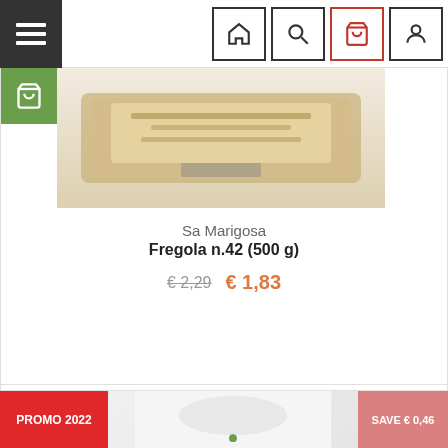[Figure (screenshot): Website navigation bar with hamburger menu on left and home, search, bag, user icons on right]
[Figure (photo): Product photo of Sa Marigosa Fregola n.42 pasta package]
Sa Marigosa
Fregola n.42 (500 g)
€ 2,29  € 1,83
[Figure (logo): Partner Shop logo with circular dotted emblem and location pin icon]
PROMO 2022
SAVE € 0,46